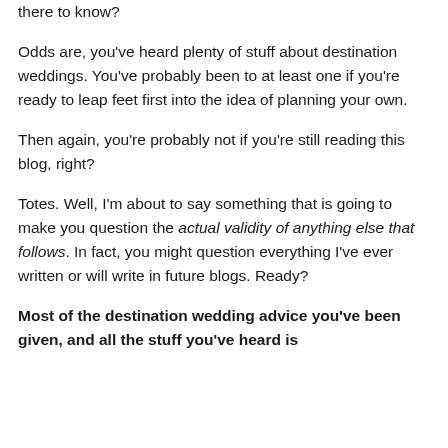there to know?
Odds are, you've heard plenty of stuff about destination weddings. You've probably been to at least one if you're ready to leap feet first into the idea of planning your own.
Then again, you're probably not if you're still reading this blog, right?
Totes. Well, I'm about to say something that is going to make you question the actual validity of anything else that follows. In fact, you might question everything I've ever written or will write in future blogs. Ready?
Most of the destination wedding advice you've been given, and all the stuff you've heard is